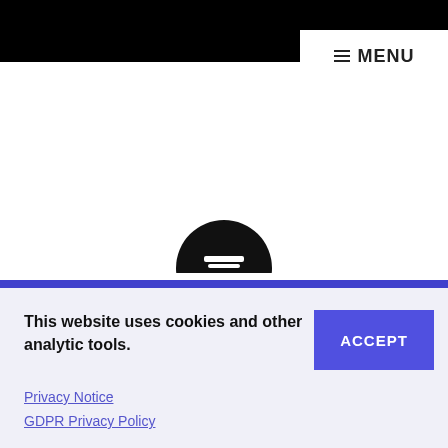MENU
[Figure (illustration): Circular black avatar/profile icon, partially visible, emerging from the bottom of the white content area above the blue line]
This website uses cookies and other analytic tools.
ACCEPT
Privacy Notice
GDPR Privacy Policy